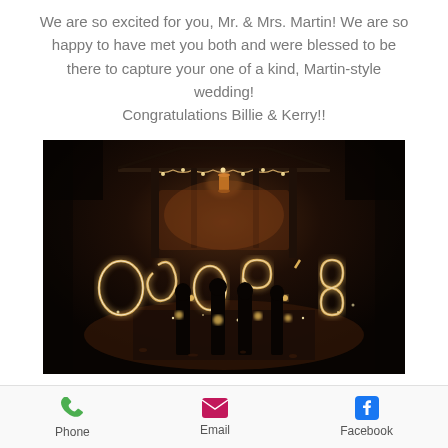We are so excited for you, Mr. & Mrs. Martin! We are so happy to have met you both and were blessed to be there to capture your one of a kind, Martin-style wedding! Congratulations Billie & Kerry!!
[Figure (photo): Nighttime wedding photo showing sparkler writing '06.09.18' in front of a gazebo decorated with string lights, with silhouettes of people holding sparklers]